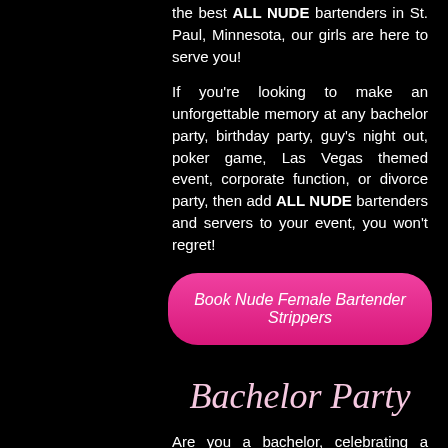the best ALL NUDE bartenders in St. Paul, Minnesota, our girls are here to serve you!
If you're looking to make an unforgettable memory at any bachelor party, birthday party, guy's night out, poker game, Las Vegas themed event, corporate function, or divorce party, then add ALL NUDE bartenders and servers to your event, you won't regret!
[Figure (other): Pink rounded button with italic white text reading 'Book Nude Female Bartender Strippers']
Bachelor Party
Are you a bachelor, celebrating a bachelor party in St. Paul? The